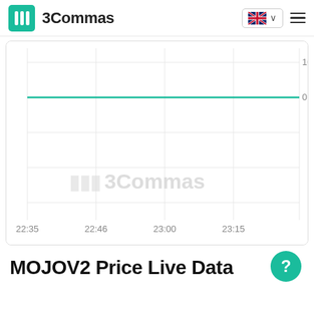3Commas
[Figure (continuous-plot): Line chart showing MOJOV2 price data nearly flat at 0.00, with a teal horizontal line across the chart. X-axis labels: 22:35, 22:46, 23:00, 23:15. Y-axis labels: 10, 0.00. Watermark '3Commas' visible in chart background.]
MOJOV2 Price Live Data